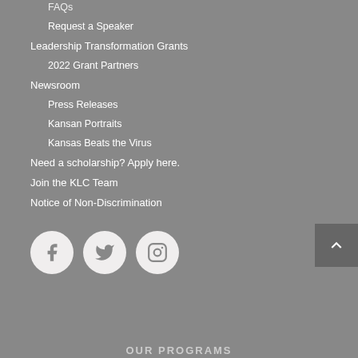FAQs
Request a Speaker
Leadership Transformation Grants
2022 Grant Partners
Newsroom
Press Releases
Kansan Portraits
Kansas Beats the Virus
Need a scholarship? Apply here.
Join the KLC Team
Notice of Non-Discrimination
[Figure (illustration): Social media icons: Facebook, Twitter, Instagram circles]
OUR PROGRAMS